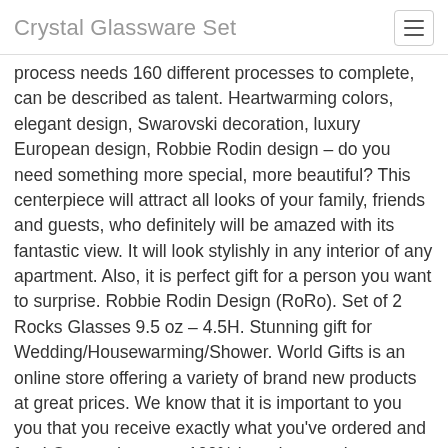Crystal Glassware Set
process needs 160 different processes to complete, can be described as talent. Heartwarming colors, elegant design, Swarovski decoration, luxury European design, Robbie Rodin design – do you need something more special, more beautiful? This centerpiece will attract all looks of your family, friends and guests, who definitely will be amazed with its fantastic view. It will look stylishly in any interior of any apartment. Also, it is perfect gift for a person you want to surprise. Robbie Rodin Design (RoRo). Set of 2 Rocks Glasses 9.5 oz – 4.5H. Stunning gift for Wedding/Housewarming/Shower. World Gifts is an online store offering a variety of brand new products at great prices. We know that it is important to you you that you receive exactly what you've ordered and fast! Our products are 100% brand new unless otherwise